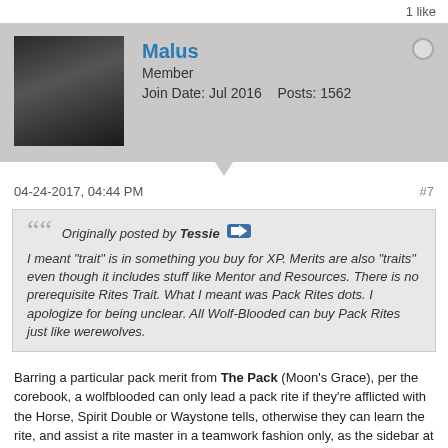1 like
Malus
Member
Join Date: Jul 2016    Posts: 1562
04-24-2017, 04:44 PM
#7
Originally posted by Tessie
I meant "trait" is in something you buy for XP. Merits are also "traits" even though it includes stuff like Mentor and Resources. There is no prerequisite Rites Trait. What I meant was Pack Rites dots. I apologize for being unclear. All Wolf-Blooded can buy Pack Rites just like werewolves.
Barring a particular pack merit from The Pack (Moon's Grace), per the corebook, a wolfblooded can only lead a pack rite if they're afflicted with the Horse, Spirit Double or Waystone tells, otherwise they can learn the rite, and assist a rite master in a teamwork fashion only, as the sidebar at page 143 states (Other Ritemasters)..
That merit, at it's maximum rating (5) also allows the wolf-blooded to attain renown and gift facets.